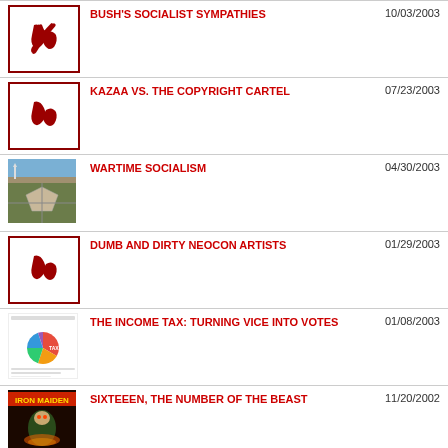BUSH'S SOCIALIST SYMPATHIES | 10/03/2003
KAZAA VS. THE COPYRIGHT CARTEL | 07/23/2003
WARTIME SOCIALISM | 04/30/2003
DUMB AND DIRTY NEOCON ARTISTS | 01/29/2003
THE INCOME TAX: TURNING VICE INTO VOTES | 01/08/2003
SIXTEEEN, THE NUMBER OF THE BEAST | 11/20/2002